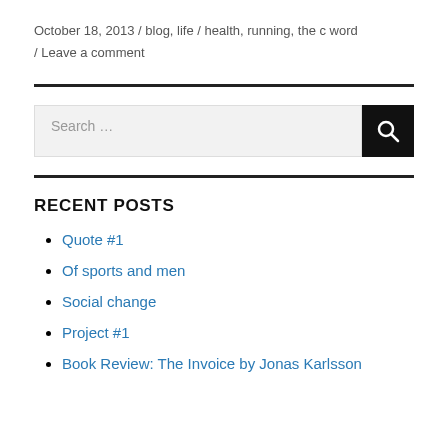October 18, 2013 / blog, life / health, running, the c word / Leave a comment
Quote #1
Of sports and men
Social change
Project #1
Book Review: The Invoice by Jonas Karlsson